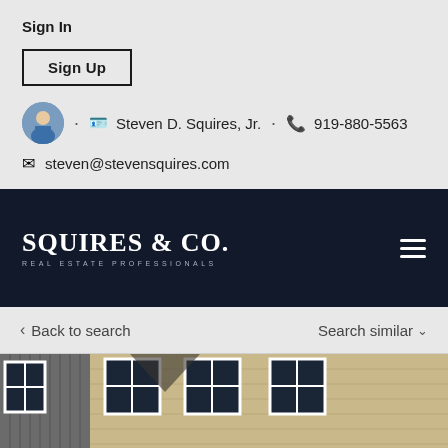Sign In
Sign Up
Steven D. Squires, Jr.  •  919-880-5563
steven@stevensquires.com
[Figure (logo): Squires & Co. Real Estate Professionals logo on dark navy background]
Back to search
Search similar
[Figure (photo): Exterior photo of residential homes showing upper floors with multiple windows, tan and gray siding]